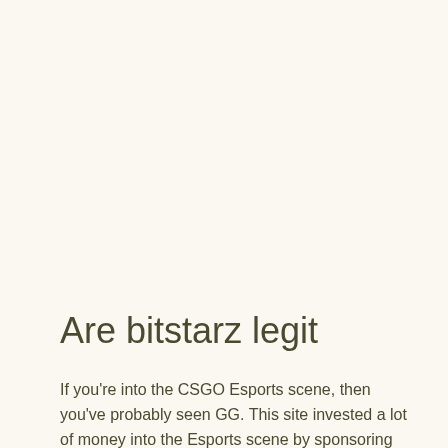Are bitstarz legit
If you're into the CSGO Esports scene, then you've probably seen GG. This site invested a lot of money into the Esports scene by sponsoring various CSGO teams and tournaments all over the globe, are bitstarz